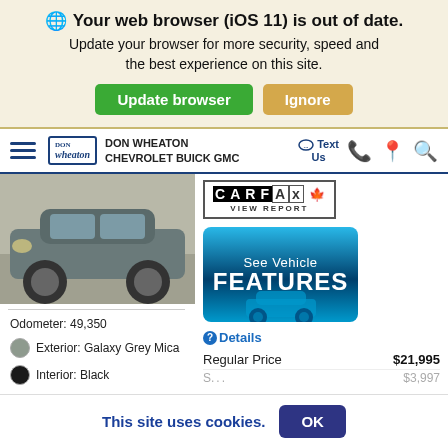Your web browser (iOS 11) is out of date. Update your browser for more security, speed and the best experience on this site.
[Figure (screenshot): Navigation bar with Don Wheaton Chevrolet Buick GMC logo, hamburger menu, Text Us, phone, location, and search icons]
[Figure (photo): Front/side view of a grey SUV/car]
[Figure (logo): CARFAX Canada VIEW REPORT badge]
Odometer: 49,350
Exterior: Galaxy Grey Mica
Interior: Black
Engine: Gas I4 2.0L/122
[Figure (infographic): See Vehicle FEATURES button with car silhouette graphic on blue background]
Details
|  |  |
| --- | --- |
| Regular Price | $21,995 |
| S... | $3,997 |
This site uses cookies.